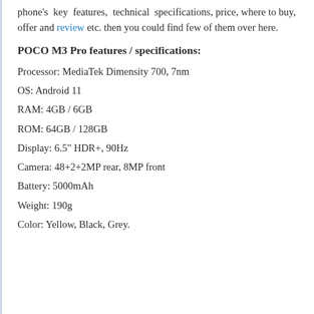phone's key features, technical specifications, price, where to buy, offer and review etc. then you could find few of them over here.
POCO M3 Pro features / specifications:
Processor: MediaTek Dimensity 700, 7nm
OS: Android 11
RAM: 4GB / 6GB
ROM: 64GB / 128GB
Display: 6.5" HDR+, 90Hz
Camera: 48+2+2MP rear, 8MP front
Battery: 5000mAh
Weight: 190g
Color: Yellow, Black, Grey.